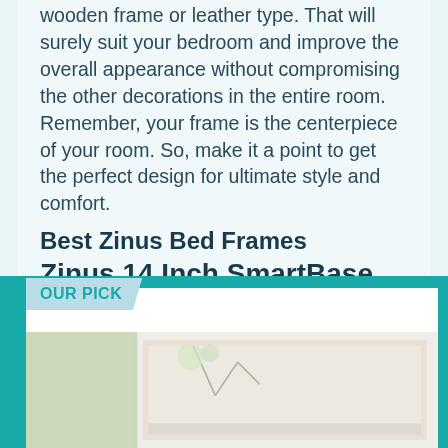wooden frame or leather type. That will surely suit your bedroom and improve the overall appearance without compromising the other decorations in the entire room. Remember, your frame is the centerpiece of your room. So, make it a point to get the perfect design for ultimate style and comfort.
Best Zinus Bed Frames
Zinus 14 Inch SmartBase Mattress Foundation
[Figure (photo): Product card with 'OUR PICK' banner in light blue, containing a photo of a bed/mattress setup in a bedroom]